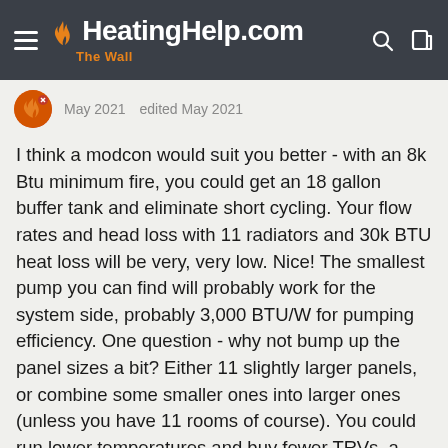HeatingHelp.com The Wall
May 2021   edited May 2021
I think a modcon would suit you better - with an 8k Btu minimum fire, you could get an 18 gallon buffer tank and eliminate short cycling. Your flow rates and head loss with 11 radiators and 30k BTU heat loss will be very, very low. Nice! The smallest pump you can find will probably work for the system side, probably 3,000 BTU/W for pumping efficiency. One question - why not bump up the panel sizes a bit? Either 11 slightly larger panels, or combine some smaller ones into larger ones (unless you have 11 rooms of course). You could run lower temperatures and buy fewer TRVs, a smaller manifold, and less tubing. Could save you both upfront and over time.